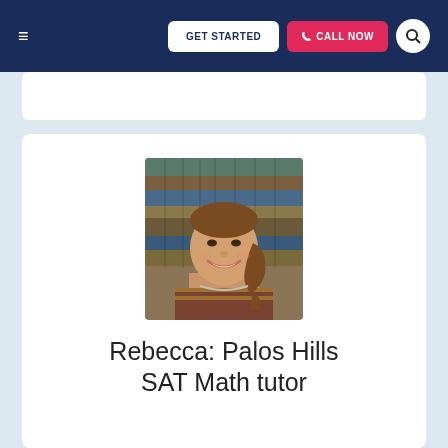≡  GET STARTED  📞 CALL NOW  🔍
[Figure (photo): Portrait photo of Rebecca, a young woman with dark blonde hair in a braid, smiling, with a background of stacked books]
Rebecca: Palos Hills SAT Math tutor